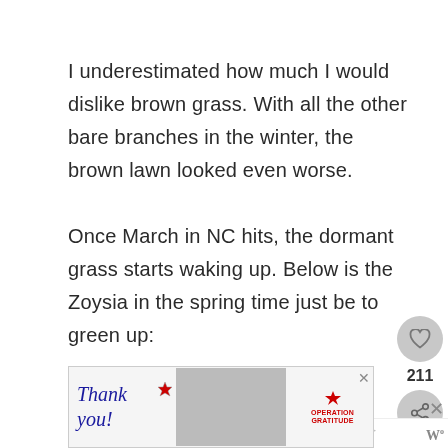I underestimated how much I would dislike brown grass. With all the other bare branches in the winter, the brown lawn looked even worse.

Once March in NC hits, the dormant grass starts waking up. Below is the Zoysia in the spring time just be to green up:
[Figure (screenshot): Sidebar UI with heart/like button showing count 211 and share button]
[Figure (infographic): WHAT'S NEXT arrow label with thumbnail image and text '9 Top Kitchen Trends In 2022']
[Figure (photo): Advertisement banner: 'Thank you!' Operation Gratitude ad with medical workers holding packages]